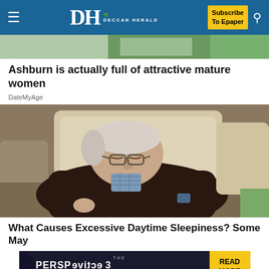DH DECCAN HERALD — Subscribe To Epaper
[Figure (photo): Partial top photo strip from an advertisement, showing green background]
Ashburn is actually full of attractive mature women
DateMyAge
[Figure (photo): Elderly man sleeping in a chair with arms crossed, wearing dark sweater and glasses, resting head against cushioned chair back]
What Causes Excessive Daytime Sleepiness? Some May
[Figure (screenshot): Advertisement banner: THE PERSPECTIVE — SEE WHAT YOU'RE MISSING — READ MORE]